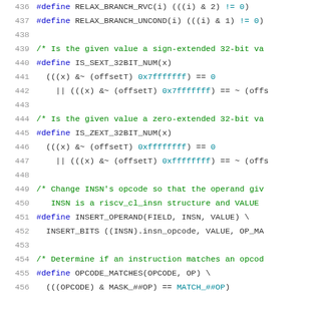[Figure (screenshot): Source code listing showing C preprocessor macro definitions for RISC-V assembler, lines 436-456, with syntax highlighting. Includes RELAX_BRANCH_RVC, RELAX_BRANCH_UNCOND, IS_SEXT_32BIT_NUM, IS_ZEXT_32BIT_NUM, INSERT_OPERAND, and OPCODE_MATCHES macros.]